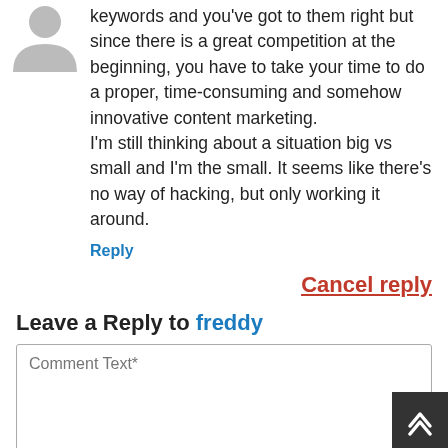keywords and you've got to them right but since there is a great competition at the beginning, you have to take your time to do a proper, time-consuming and somehow innovative content marketing. I'm still thinking about a situation big vs small and I'm the small. It seems like there's no way of hacking, but only working it around.
Reply
Cancel reply
Leave a Reply to freddy
Comment Text*